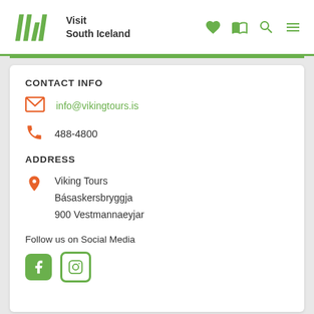Visit South Iceland
CONTACT INFO
info@vikingtours.is
488-4800
ADDRESS
Viking Tours
Básaskersbryggja
900 Vestmannaeyjar
Follow us on Social Media